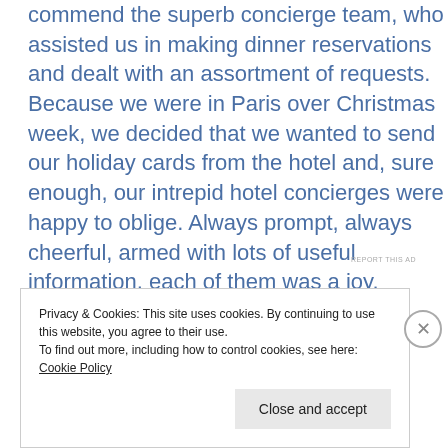commend the superb concierge team, who assisted us in making dinner reservations and dealt with an assortment of requests. Because we were in Paris over Christmas week, we decided that we wanted to send our holiday cards from the hotel and, sure enough, our intrepid hotel concierges were happy to oblige. Always prompt, always cheerful, armed with lots of useful information, each of them was a joy.
REPORT THIS AD
Privacy & Cookies: This site uses cookies. By continuing to use this website, you agree to their use.
To find out more, including how to control cookies, see here: Cookie Policy
Close and accept